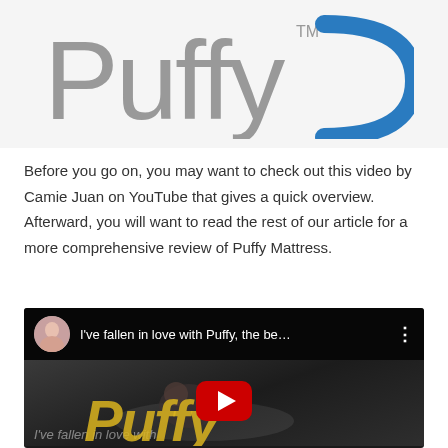[Figure (logo): Puffy mattress logo — large grey cursive 'Puffy' text with a blue crescent/arc shape to the right and a superscript TM mark]
Before you go on, you may want to check out this video by Camie Juan on YouTube that gives a quick overview. Afterward, you will want to read the rest of our article for a more comprehensive review of Puffy Mattress.
[Figure (screenshot): YouTube video embed thumbnail. Title bar shows a circular avatar and the title 'I've fallen in love with Puffy, the be...' with a three-dot menu icon. The thumbnail shows a person lying on a bed with large yellow italic 'Puffy' text overlay and a red YouTube play button in the center. Faint italic white text reads 'I've fallen in love with'.]